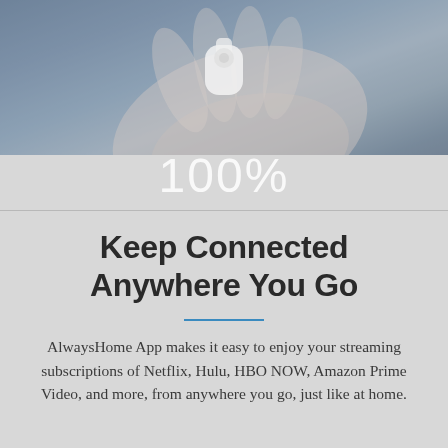[Figure (photo): Close-up photo of a hand holding white earbuds/AirPods with a blurred background in blue-grey tones]
100%
Keep Connected Anywhere You Go
AlwaysHome App makes it easy to enjoy your streaming subscriptions of Netflix, Hulu, HBO NOW, Amazon Prime Video, and more, from anywhere you go, just like at home.